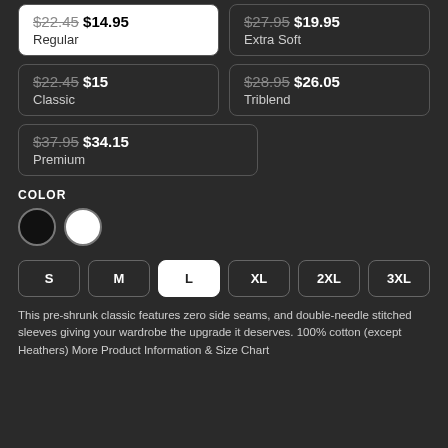$22.45 $14.95 Regular
$27.95 $19.95 Extra Soft
$22.45 $15 Classic
$28.95 $26.05 Triblend
$37.95 $34.15 Premium
COLOR
[Figure (other): Two color swatches: black (filled circle) and white (outlined circle)]
S M L XL 2XL 3XL
This pre-shrunk classic features zero side seams, and double-needle stitched sleeves giving your wardrobe the upgrade it deserves. 100% cotton (except Heathers) More Product Information & Size Chart